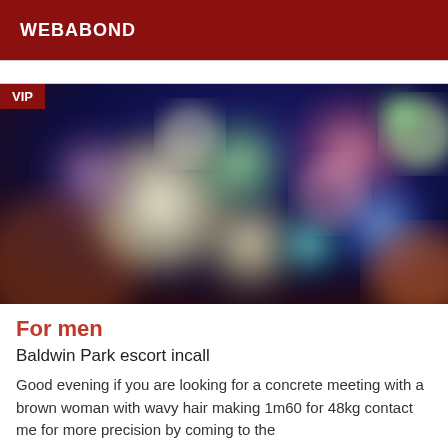WEBABOND
[Figure (photo): Blurred bokeh background image with colorful circles of light (cream, green, pink, blue, red) on a dark blue/purple background. A red 'VIP' badge is overlaid in the top-left corner.]
For men
Baldwin Park escort incall
Good evening if you are looking for a concrete meeting with a brown woman with wavy hair making 1m60 for 48kg contact me for more precision by coming to the